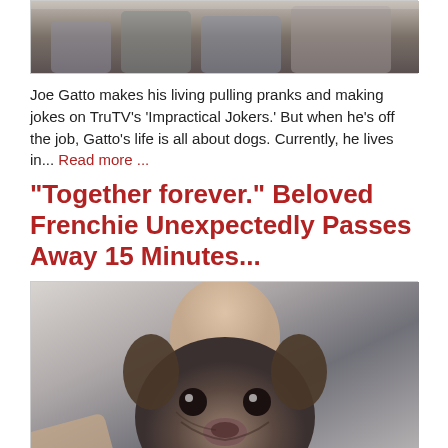[Figure (photo): Photo of a person with dogs on a couch, partially cropped at top]
Joe Gatto makes his living pulling pranks and making jokes on TruTV's 'Impractical Jokers.' But when he's off the job, Gatto's life is all about dogs. Currently, he lives in... Read more ...
“Together forever.” Beloved Frenchie Unexpectedly Passes Away 15 Minutes...
[Figure (photo): Selfie photo of a young man with a French Bulldog close to camera]
Stuart Hutchison of Alloa, Scotland died peacefully at home on August 11th. He was just 25 years old and had battled on